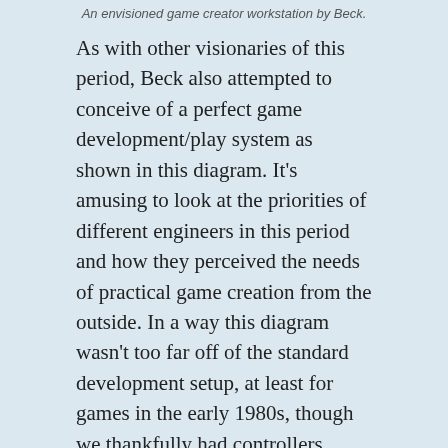An envisioned game creator workstation by Beck.
As with other visionaries of this period, Beck also attempted to conceive of a perfect game development/play system as shown in this diagram. It's amusing to look at the priorities of different engineers in this period and how they perceived the needs of practical game creation from the outside. In a way this diagram wasn't too far off of the standard development setup, at least for games in the early 1980s, though we thankfully had controllers which didn't look like an audio panel. I'm not entirely sure if we won out on that decision though.
[Figure (photo): Black and white photograph of a person (likely an engineer or game developer) working at a workstation, viewed from behind/side.]